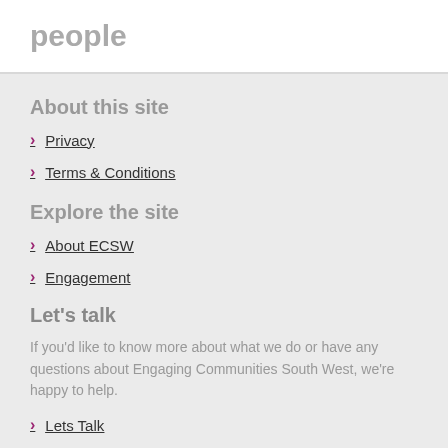people
About this site
Privacy
Terms & Conditions
Explore the site
About ECSW
Engagement
Let's talk
If you'd like to know more about what we do or have any questions about Engaging Communities South West, we're happy to help.
Lets Talk